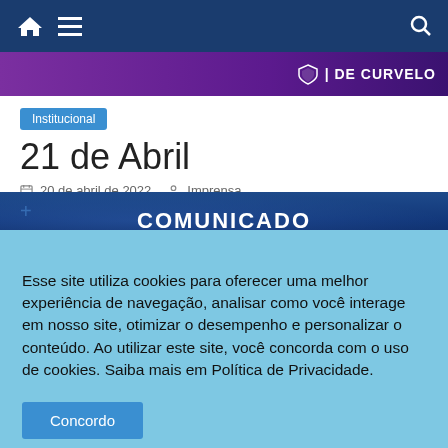Navigation bar with home, menu, and search icons — DE CURVELO
[Figure (screenshot): Purple banner with DE CURVELO logo text on right side]
Institucional
21 de Abril
20 de abril de 2022   Imprensa
[Figure (screenshot): COMUNICADO banner with dark blue gradient background]
Esse site utiliza cookies para oferecer uma melhor experiência de navegação, analisar como você interage em nosso site, otimizar o desempenho e personalizar o conteúdo. Ao utilizar este site, você concorda com o uso de cookies. Saiba mais em Política de Privacidade.
Concordo